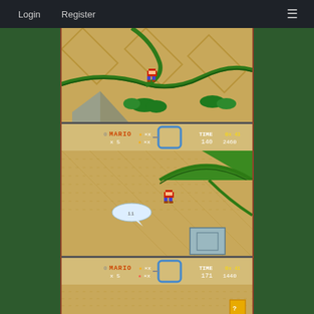Login   Register   ≡
[Figure (screenshot): Super Mario World overworld map screenshot showing Mario on a sandy desert path with green borders]
[Figure (screenshot): Super Mario World in-game screenshot with HUD showing MARIO x5, TIME 140, 0x43, 2460 score, Mario on a sandy hill with speech bubble saying 'ii']
[Figure (screenshot): Super Mario World in-game screenshot with HUD showing MARIO x5, TIME 171, 0x41, 1440 score, partially visible]